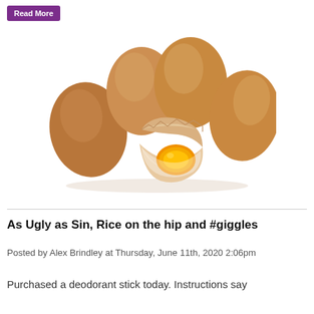[Figure (photo): A group of brown eggs with one cracked open showing orange yolk, on a white background]
As Ugly as Sin, Rice on the hip and #giggles
Posted by Alex Brindley at Thursday, June 11th, 2020 2:06pm
Purchased a deodorant stick today. Instructions say